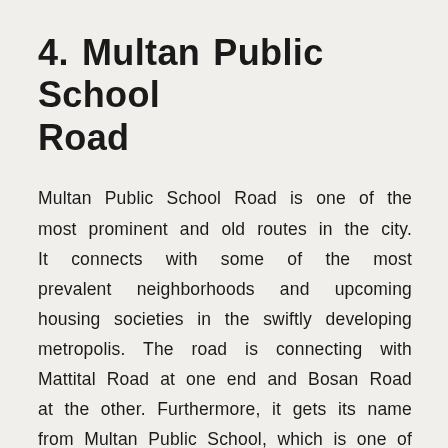4. Multan Public School Road
Multan Public School Road is one of the most prominent and old routes in the city. It connects with some of the most prevalent neighborhoods and upcoming housing societies in the swiftly developing metropolis. The road is connecting with Mattital Road at one end and Bosan Road at the other. Furthermore, it gets its name from Multan Public School, which is one of the earliest and largest education institutes in Southern Punjab. Some of the